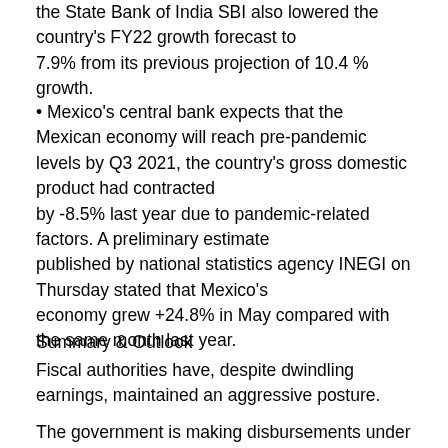the State Bank of India SBI also lowered the country's FY22 growth forecast to 7.9% from its previous projection of 10.4 % growth.
Mexico's central bank expects that the Mexican economy will reach pre-pandemic levels by Q3 2021, the country's gross domestic product had contracted by -8.5% last year due to pandemic-related factors. A preliminary estimate published by national statistics agency INEGI on Thursday stated that Mexico's economy grew +24.8% in May compared with the same month last year.
Summary & Outlook
Fiscal authorities have, despite dwindling earnings, maintained an aggressive posture.
The government is making disbursements under the Special